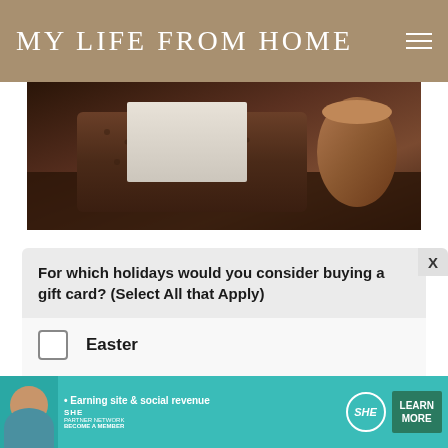MY LIFE FROM HOME
[Figure (photo): Dark wood table with a copper/bronze textured tray and a candle or copper cup in the background]
For which holidays would you consider buying a gift card? (Select All that Apply)
Easter
Thanksgiving
Hanukkah
Christmas
[Figure (infographic): SHE Media Partner Network advertisement banner: 'Earning site & social revenue', LEARN MORE button, BECOME A MEMBER text]